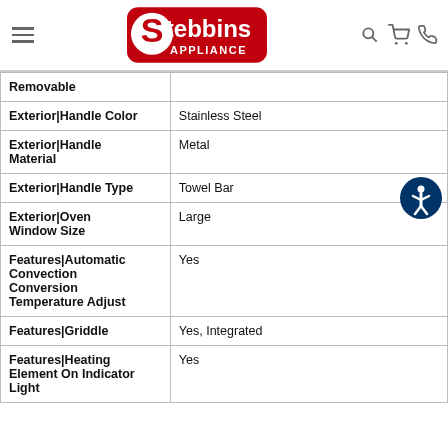Stebbins Appliance
| Feature | Value |
| --- | --- |
| Removable |  |
| Exterior|Handle Color | Stainless Steel |
| Exterior|Handle Material | Metal |
| Exterior|Handle Type | Towel Bar |
| Exterior|Oven Window Size | Large |
| Features|Automatic Convection Conversion Temperature Adjust | Yes |
| Features|Griddle | Yes, Integrated |
| Features|Heating Element On Indicator Light | Yes |